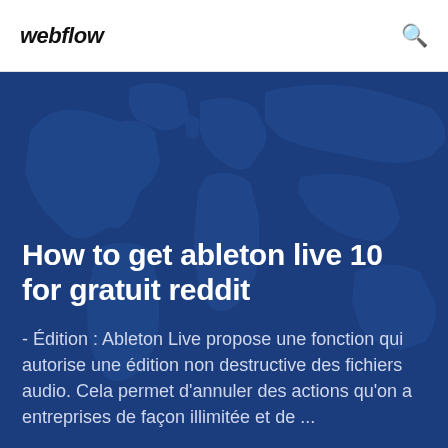webflow
How to get ableton live 10 for gratuit reddit
- Édition : Ableton Live propose une fonction qui autorise une édition non destructive des fichiers audio. Cela permet d'annuler des actions qu'on a entreprises de façon illimitée et de ...